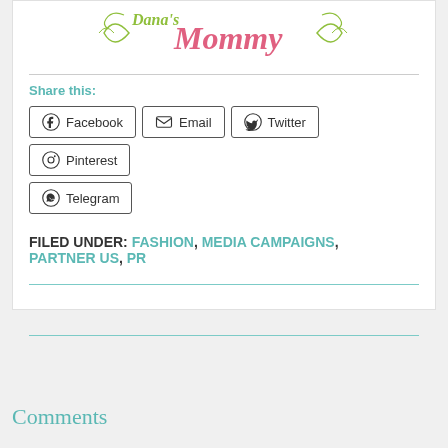[Figure (logo): Dana's Mommy blog logo in decorative script with olive green and pink colors and flourishes]
Share this:
Facebook  Email  Twitter  Pinterest  Telegram
FILED UNDER: FASHION, MEDIA CAMPAIGNS, PARTNER US, PR
Comments